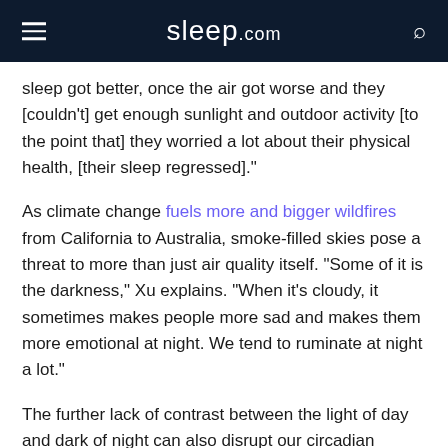sleep.com
sleep got better, once the air got worse and they [couldn't] get enough sunlight and outdoor activity [to the point that] they worried a lot about their physical health, [their sleep regressed]."
As climate change fuels more and bigger wildfires from California to Australia, smoke-filled skies pose a threat to more than just air quality itself. “Some of it is the darkness,” Xu explains. “When it’s cloudy, it sometimes makes people more sad and makes them more emotional at night. We tend to ruminate at night a lot.”
The further lack of contrast between the light of day and dark of night can also disrupt our circadian rhythms, our internal biological clocks, and mess up the cues that signal our bodies that it’s time to wake up or time to go to bed.